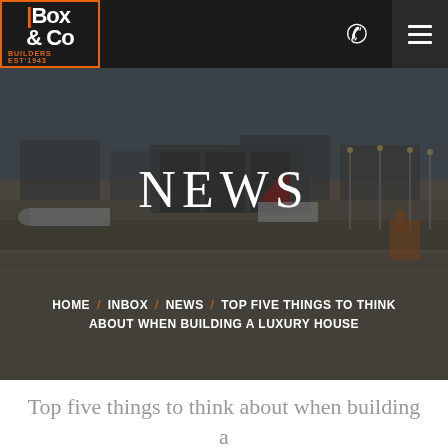Box & Co Builders EST 1943 — Navigation header with phone and menu icons
[Figure (photo): Aerial view of an airport tarmac with planes, hangars, and runway lighting; dark overlay applied over the photo as hero banner background]
NEWS
HOME / INBOX / NEWS / TOP FIVE THINGS TO THINK ABOUT WHEN BUILDING A LUXURY HOUSE
Top five things to think about when building a luxury house